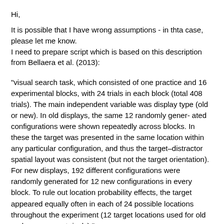Hi,
It is possible that I have wrong assumptions - in thta case, please let me know.
I need to prepare script which is based on this description from Bellaera et al. (2013):
"visual search task, which consisted of one practice and 16 experimental blocks, with 24 trials in each block (total 408 trials). The main independent variable was display type (old or new). In old displays, the same 12 randomly gener- ated configurations were shown repeatedly across blocks. In these the target was presented in the same location within any particular configuration, and thus the target–distractor spatial layout was consistent (but not the target orientation). For new displays, 192 different configurations were randomly generated for 12 new configurations in every block. To rule out location probability effects, the target appeared equally often in each of 24 possible locations throughout the experiment (12 target locations used for old and new, respect- ively)."